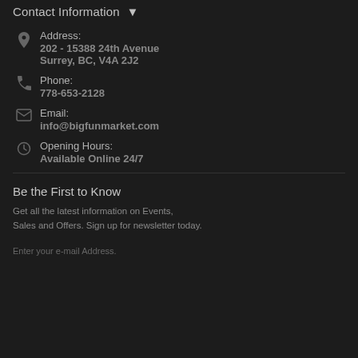Contact Information
Address: 202 - 15388 24th Avenue Surrey, BC, V4A 2J2
Phone: 778-653-2128
Email: info@bigfunmarket.com
Opening Hours: Available Online 24/7
Be the First to Know
Get all the latest information on Events, Sales and Offers. Sign up for newsletter today.
Enter your e-mail Address.